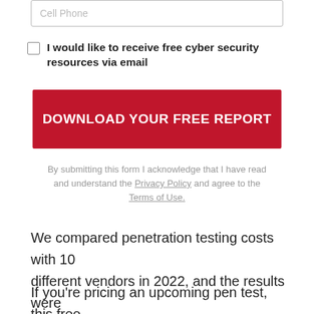Cell Phone
I would like to receive free cyber security resources via email
DOWNLOAD YOUR FREE REPORT
By submitting this form I acknowledge that I have read and understand the Privacy Policy and agree to the Terms of Use.
We compared penetration testing costs with 10 different vendors in 2022, and the results were surprising.
If you're pricing an upcoming pen test, this free report – from independent consultants – will help shorten your due diligence and prevent your firm